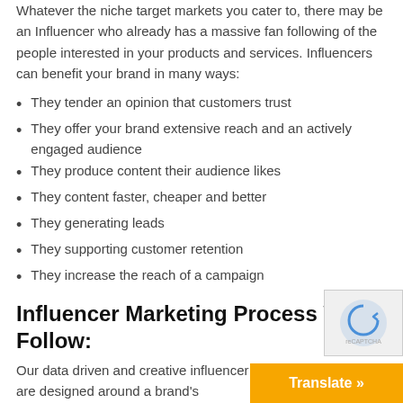Whatever the niche target markets you cater to, there may be an Influencer who already has a massive fan following of the people interested in your products and services. Influencers can benefit your brand in many ways:
They tender an opinion that customers trust
They offer your brand extensive reach and an actively engaged audience
They produce content their audience likes
They content faster, cheaper and better
They generating leads
They supporting customer retention
They increase the reach of a campaign
Influencer Marketing Process We Follow:
Our data driven and creative influencer marketing strategies are designed around a brand's